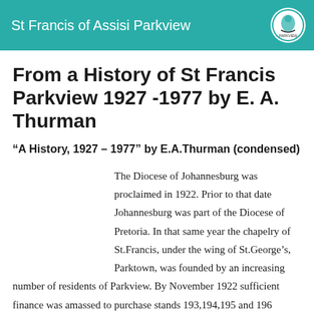St Francis of Assisi Parkview
From a History of St Francis Parkview 1927 -1977 by E. A. Thurman
“A History, 1927 – 1977” by E.A.Thurman (condensed)
The Diocese of Johannesburg was proclaimed in 1922. Prior to that date Johannesburg was part of the Diocese of Pretoria. In that same year the chapelry of St.Francis, under the wing of St.George’s, Parktown, was founded by an increasing number of residents of Parkview. By November 1922 sufficient finance was amassed to purchase stands 193,194,195 and 196